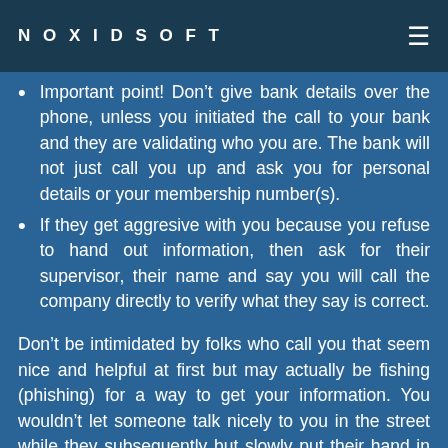NOXIDSOFT
Important point! Don’t give bank details over the phone, unless you initiated the call to your bank and they are validating who you are. The bank will not just call you up and ask you for personal details or your membership number(s).
If they get aggresive with you because you refuse to hand out information, then ask for their supervisor, their name and say you will call the company directly to verify what they say is correct.
Don’t be intimidated by folks who call you that seem nice and helpful at first but may actually be fishing (phishing) for a way to get your information. You wouldn’t let someone talk nicely to you in the street while they subsequently but slowly put their hand in your pocket or hand-bag and remove your wallet,